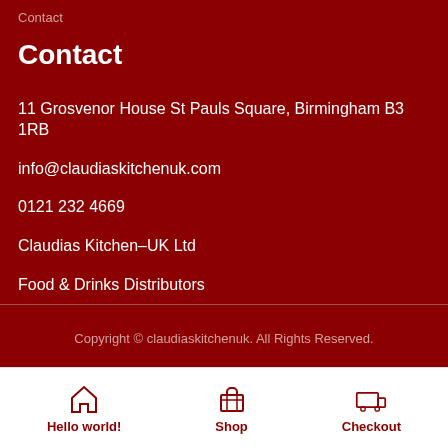Contact
Contact
11 Grosvenor House St Pauls Square, Birmingham B3 1RB
info@claudiaskitchenuk.com
0121 232 4669
Claudias Kitchen–UK Ltd
Food & Drinks Distributors
Company Registration No 13247629
Copyright © claudiaskitchenuk. All Rights Reserved.
Hello world! Shop Checkout